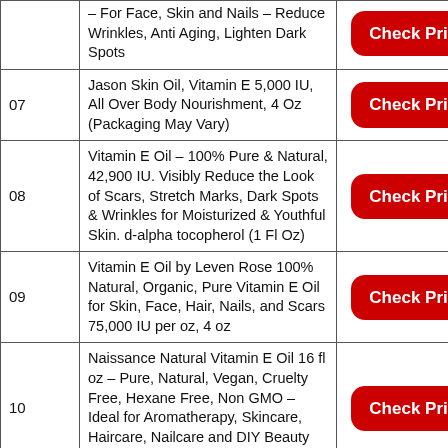| # | Product | Link |
| --- | --- | --- |
|  | – For Face, Skin and Nails – Reduce Wrinkles, Anti Aging, Lighten Dark Spots | Check Price |
| 07 | Jason Skin Oil, Vitamin E 5,000 IU, All Over Body Nourishment, 4 Oz (Packaging May Vary) | Check Price |
| 08 | Vitamin E Oil – 100% Pure & Natural, 42,900 IU. Visibly Reduce the Look of Scars, Stretch Marks, Dark Spots & Wrinkles for Moisturized & Youthful Skin. d-alpha tocopherol (1 Fl Oz) | Check Price |
| 09 | Vitamin E Oil by Leven Rose 100% Natural, Organic, Pure Vitamin E Oil for Skin, Face, Hair, Nails, and Scars 75,000 IU per oz, 4 oz | Check Price |
| 10 | Naissance Natural Vitamin E Oil 16 fl oz – Pure, Natural, Vegan, Cruelty Free, Hexane Free, Non GMO – Ideal for Aromatherapy, Skincare, Haircare, Nailcare and DIY Beauty Recipes | Check Price |